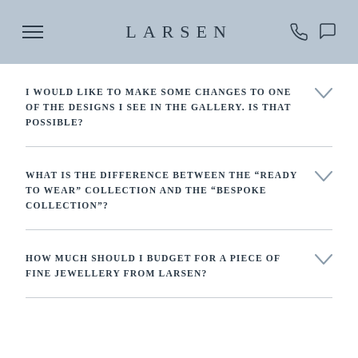LARSEN
I WOULD LIKE TO MAKE SOME CHANGES TO ONE OF THE DESIGNS I SEE IN THE GALLERY. IS THAT POSSIBLE?
WHAT IS THE DIFFERENCE BETWEEN THE “READY TO WEAR” COLLECTION AND THE “BESPOKE COLLECTION”?
HOW MUCH SHOULD I BUDGET FOR A PIECE OF FINE JEWELLERY FROM LARSEN?